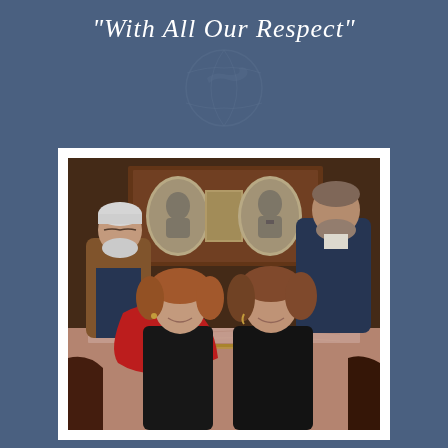"With All Our Respect"
[Figure (photo): Four people posing in front of a fireplace mantel with framed black-and-white portrait photographs displayed on it. Two men stand in the back (left: older man with white hair and beard wearing brown jacket; right: larger man with gray beard in dark sweater). Two women sit in the front (left: smiling woman with curly hair wearing black top with red shawl; right: smiling woman with curly brown hair wearing black outfit). The mantel has antique oval portrait photos in a large frame.]